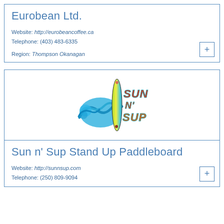Eurobean Ltd.
Website: http://eurobeancoffee.ca
Telephone: (403) 483-6335
Region: Thompson Okanagan
[Figure (logo): Sun n' Sup Stand Up Paddleboard logo featuring a surfboard, wave, and colorful Sun N' Sup text]
Sun n' Sup Stand Up Paddleboard
Website: http://sunnsup.com
Telephone: (250) 809-9094